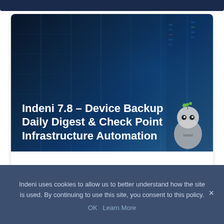[Figure (screenshot): Dark blue data center background image with server racks and blue lighting]
Indeni 7.8 – Device Backup Daily Digest & Check Point Infrastructure Automation
Device Backup Daily Digest  Device backup is an important task for organizations to ensure their
Indeni uses cookies to allow us to better understand how the site is used. By continuing to use this site, you consent to this policy.
OK   Learn More